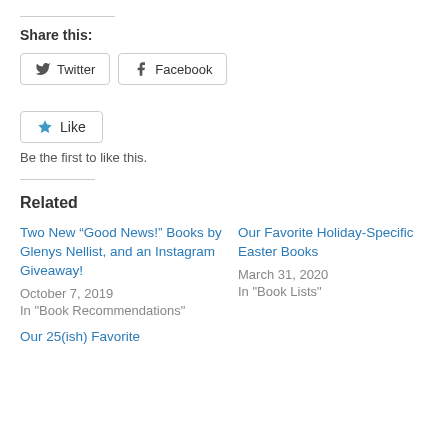Share this:
Twitter  Facebook
Like  Be the first to like this.
Related
Two New “Good News!” Books by Glenys Nellist, and an Instagram Giveaway!
October 7, 2019
In "Book Recommendations"
Our Favorite Holiday-Specific Easter Books
March 31, 2020
In "Book Lists"
Our 25(ish) Favorite